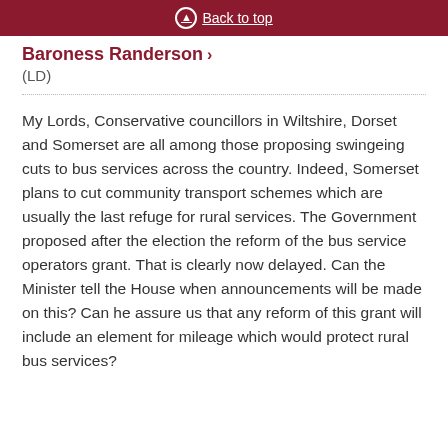Back to top
Baroness Randerson
(LD)
My Lords, Conservative councillors in Wiltshire, Dorset and Somerset are all among those proposing swingeing cuts to bus services across the country. Indeed, Somerset plans to cut community transport schemes which are usually the last refuge for rural services. The Government proposed after the election the reform of the bus service operators grant. That is clearly now delayed. Can the Minister tell the House when announcements will be made on this? Can he assure us that any reform of this grant will include an element for mileage which would protect rural bus services?